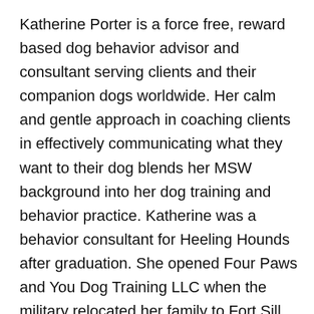Katherine Porter is a force free, reward based dog behavior advisor and consultant serving clients and their companion dogs worldwide. Her calm and gentle approach in coaching clients in effectively communicating what they want to their dog blends her MSW background into her dog training and behavior practice. Katherine was a behavior consultant for Heeling Hounds after graduation. She opened Four Paws and You Dog Training LLC when the military relocated her family to Fort Sill, OK in 2015. During this time, she volunteered with Rainbow Bridge Can Wait where she provided post adoption consultations to new pet parents. She also developed and implemented tailored behavior modification plans for highly reactive dogs residing at the shelter. She also provided educational programs to military children through interactions and classes at the Fort Sill School Age...